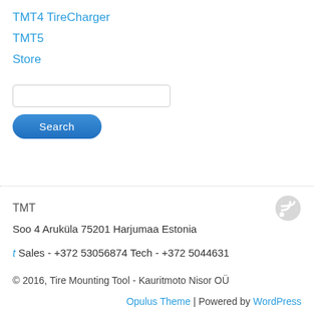TMT4 TireCharger
TMT5
Store
Search input field
Search button
TMT
Soo 4 Aruküla 75201 Harjumaa Estonia
t Sales - +372 53056874 Tech - +372 5044631
© 2016, Tire Mounting Tool - Kauritmoto Nisor OÜ
Opulus Theme | Powered by WordPress